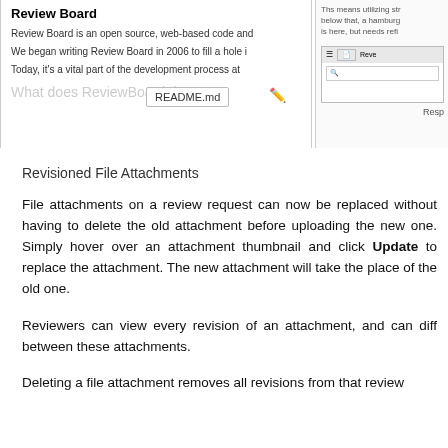[Figure (screenshot): Left panel showing Review Board webpage with title 'Review Board', three lines of text about Review Board being an open source web-based code review tool, and a faded section header 'What does Review Board do?' with a README.md label popup and pencil icon. Right panel shows handwritten notes and a UI mockup with a search bar, partly visible text 'Resp'.]
Revisioned File Attachments
File attachments on a review request can now be replaced without having to delete the old attachment before uploading the new one. Simply hover over an attachment thumbnail and click Update to replace the attachment. The new attachment will take the place of the old one.
Reviewers can view every revision of an attachment, and can diff between these attachments.
Deleting a file attachment removes all revisions from that review